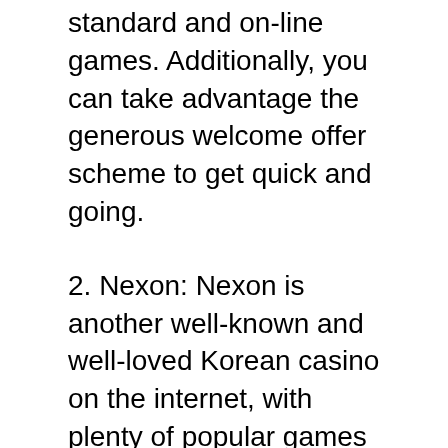standard and on-line games. Additionally, you can take advantage the generous welcome offer scheme to get quick and going.
2. Nexon: Nexon is another well-known and well-loved Korean casino on the internet, with plenty of popular games for players to choose from. You can also get great bonus offers for new players and top-quality customer service at this site.
3. There’s a top-notch casino called 888casino from the gambling giant of 888, 888casino has the widest selection of casino games, bonus offers and promotions. You can count on their superior customer service to get you through any problem you might